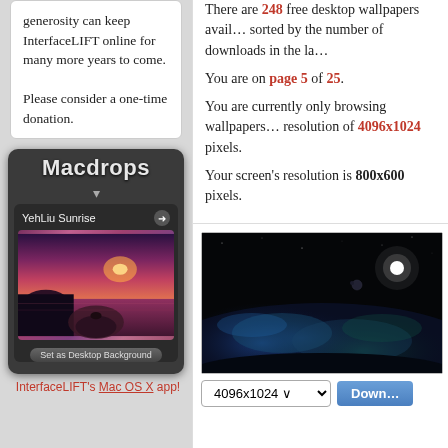generosity can keep InterfaceLIFT online for many more years to come.

Please consider a one-time donation.
[Figure (screenshot): Macdrops Mac OS X app widget showing YehLiu Sunrise wallpaper thumbnail with a purple/red sunset ocean scene and a 'Set as Desktop Background' button]
InterfaceLIFT's Mac OS X app!
There are 248 free desktop wallpapers available, sorted by the number of downloads in the last...
You are on page 5 of 25.
You are currently only browsing wallpapers at a resolution of 4096x1024 pixels.
Your screen's resolution is 800x600 pixels.
[Figure (screenshot): Dark space/nebula wallpaper showing a bright white star/moon and blue glowing nebula clouds against a black background]
4096x1024 ∨   Down...